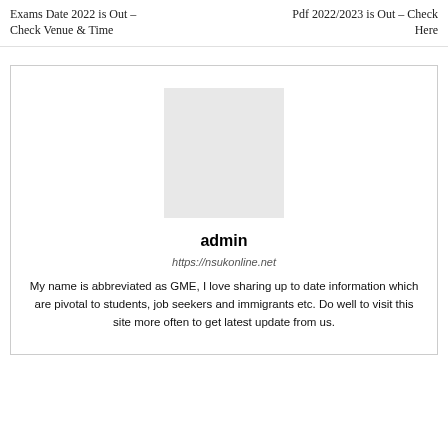Exams Date 2022 is Out – Check Venue & Time
Pdf 2022/2023 is Out – Check Here
admin
https://nsukonline.net
My name is abbreviated as GME, I love sharing up to date information which are pivotal to students, job seekers and immigrants etc. Do well to visit this site more often to get latest update from us.